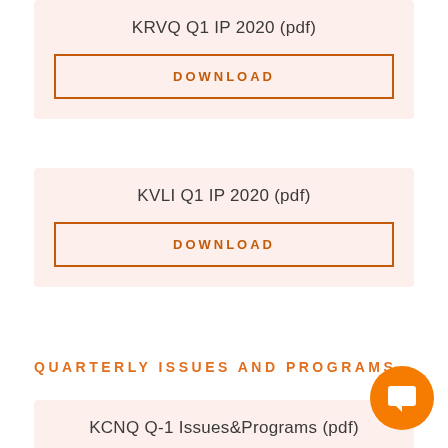KRVQ Q1 IP 2020 (pdf)
DOWNLOAD
KVLI Q1 IP 2020 (pdf)
DOWNLOAD
QUARTERLY ISSUES AND PROGRAMS
KCNQ Q-1 Issues&Programs (pdf)